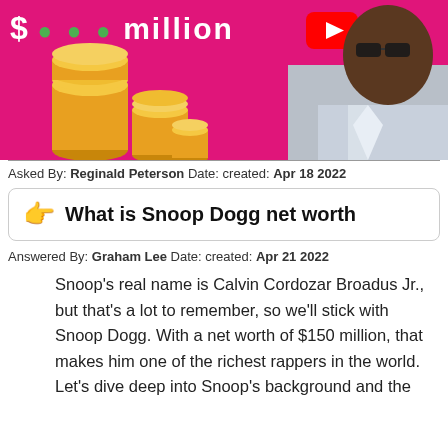[Figure (screenshot): YouTube thumbnail with pink background showing stacks of gold coins on the left, a man wearing sunglasses on the right, text showing dollar sign and 'million' at the top, and a YouTube play button icon]
Asked By: Reginald Peterson Date: created: Apr 18 2022
👉  What is Snoop Dogg net worth
Answered By: Graham Lee Date: created: Apr 21 2022
Snoop's real name is Calvin Cordozar Broadus Jr., but that's a lot to remember, so we'll stick with Snoop Dogg. With a net worth of $150 million, that makes him one of the richest rappers in the world. Let's dive deep into Snoop's background and the